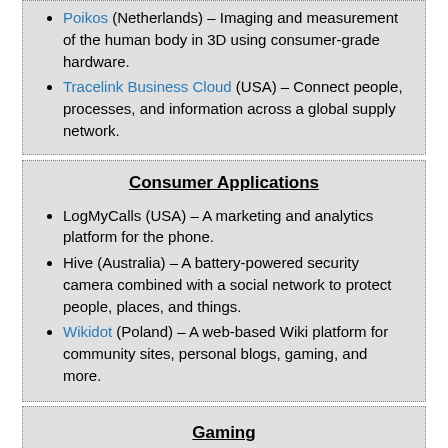Poikos (Netherlands) – Imaging and measurement of the human body in 3D using consumer-grade hardware.
Tracelink Business Cloud (USA) – Connect people, processes, and information across a global supply network.
Consumer Applications
LogMyCalls (USA) – A marketing and analytics platform for the phone.
Hive (Australia) – A battery-powered security camera combined with a social network to protect people, places, and things.
Wikidot (Poland) – A web-based Wiki platform for community sites, personal blogs, gaming, and more.
Gaming